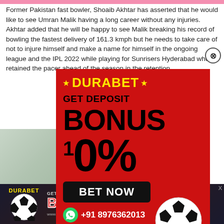Former Pakistan fast bowler, Shoaib Akhtar has asserted that he would like to see Umran Malik having a long career without any injuries. Akhtar added that he will be happy to see Malik breaking his record of bowling the fastest delivery of 161.3 kmph but he needs to take care of not to injure himself and make a name for himself in the ongoing league and the IPL 2022 while playing for Sunrisers Hyderabad who retained the pacer ahead of the season in the retention.
[Figure (infographic): DURABET advertisement - red background with yellow DURABET logo, GET DEPOSIT BONUS 10%, BET NOW button, WhatsApp +91 8976362013, soccer ball graphic]
[Figure (infographic): Bottom banner DURABET advertisement - dark background with DURABET logo, soccer ball, GET DEPOSIT BONUS 10%, BET NOW button, www.durabet.com, +91 8976362013]